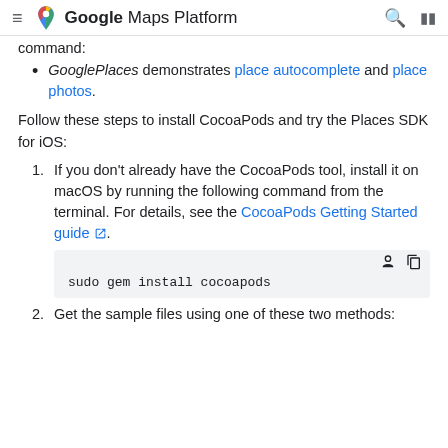Google Maps Platform
command:
GooglePlaces demonstrates place autocomplete and place photos.
Follow these steps to install CocoaPods and try the Places SDK for iOS:
1. If you don't already have the CocoaPods tool, install it on macOS by running the following command from the terminal. For details, see the CocoaPods Getting Started guide.
sudo gem install cocoapods
2. Get the sample files using one of these two methods: